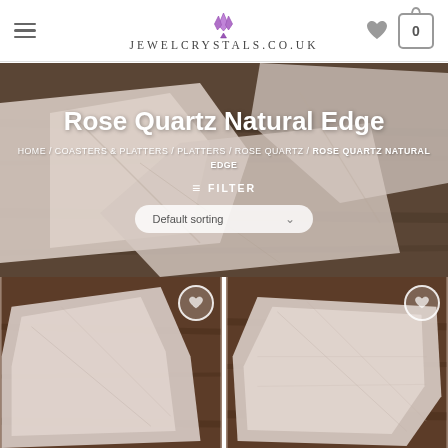jewelcrystals.co.uk
Rose Quartz Natural Edge
HOME / COASTERS & PLATTERS / PLATTERS / ROSE QUARTZ / ROSE QUARTZ NATURAL EDGE
≡ FILTER
Default sorting
[Figure (photo): Rose quartz crystal platter product photo on wooden surface]
[Figure (photo): Rose quartz crystal platter product photo on wooden surface]